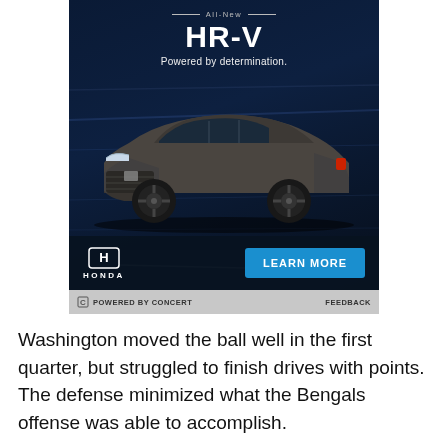[Figure (photo): Honda HR-V advertisement showing a dark grey HR-V SUV driving on a road against a dark background with motion blur. Text reads 'All-New HR-V Powered by determination.' with Honda logo and a blue 'LEARN MORE' button. Bottom bar reads 'POWERED BY CONCERT' and 'FEEDBACK'.]
Washington moved the ball well in the first quarter, but struggled to finish drives with points. The defense minimized what the Bengals offense was able to accomplish.